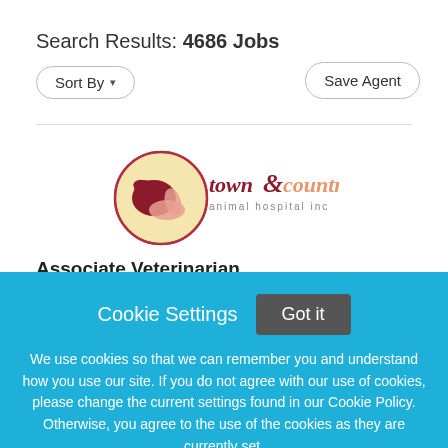Search Results: 4686 Jobs
Sort By ▾
Save Agent
[Figure (logo): Town & Country Animal Hospital Inc logo with circular emblem featuring animals and text]
Associate Veterinarian
Cookie Settings
Got it
We use cookies so that we can remember you and understand how you use our site. If you do not agree with our use of cookies, please change the current settings found in our Cookie Policy. Otherwise, you agree to the use of the cookies as they are currently set.